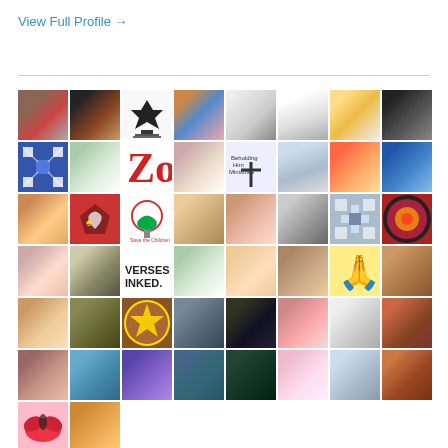View Full Profile →
[Figure (photo): Grid of profile photos and avatars from social media followers or connections. Contains approximately 58 small square thumbnails arranged in a grid, showing profile pictures of people, logos, icons, and other avatar images.]